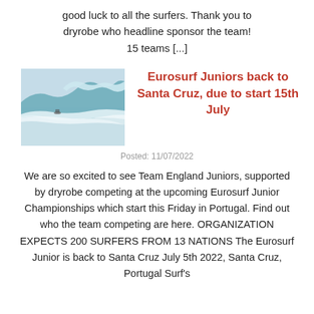good luck to all the surfers. Thank you to dryrobe who headline sponsor the team! 15 teams [...]
[Figure (photo): Ocean wave photo with surfer in the water]
Eurosurf Juniors back to Santa Cruz, due to start 15th July
Posted: 11/07/2022
We are so excited to see Team England Juniors, supported by dryrobe competing at the upcoming Eurosurf Junior Championships which start this Friday in Portugal. Find out who the team competing are here. ORGANIZATION EXPECTS 200 SURFERS FROM 13 NATIONS The Eurosurf Junior is back to Santa Cruz July 5th 2022, Santa Cruz, Portugal Surf's